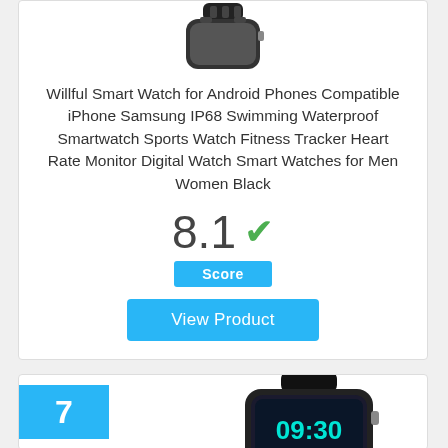[Figure (photo): Smartwatch with black band, partial view showing the top portion]
Willful Smart Watch for Android Phones Compatible iPhone Samsung IP68 Swimming Waterproof Smartwatch Sports Watch Fitness Tracker Heart Rate Monitor Digital Watch Smart Watches for Men Women Black
8.1
Score
View Product
7
[Figure (photo): Smartwatch with black leather band showing a digital clock face displaying 09:30, Thursday]